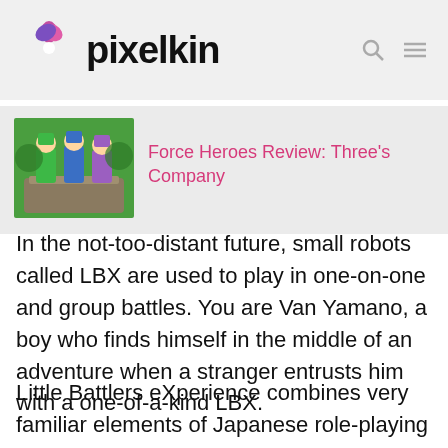pixelkin
[Figure (illustration): Zelda tri force heroes game artwork showing three characters in colorful forest setting]
Force Heroes Review: Three's Company
In the not-too-distant future, small robots called LBX are used to play in one-on-one and group battles. You are Van Yamano, a boy who finds himself in the middle of an adventure when a stranger entrusts him with a one-of-a-kind LBX.
Little Battlers eXperience combines very familiar elements of Japanese role-playing games like combat and item collection to